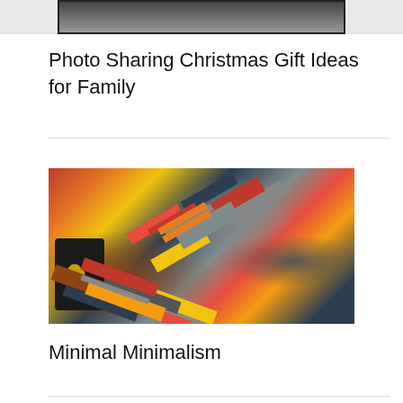[Figure (photo): Partial top view of a framed photo or device, dark bordered, cropped at top of page]
Photo Sharing Christmas Gift Ideas for Family
[Figure (photo): A dense pile of various tools including scissors, knives, pliers, wrenches, and other hand tools in mixed colors]
Minimal Minimalism